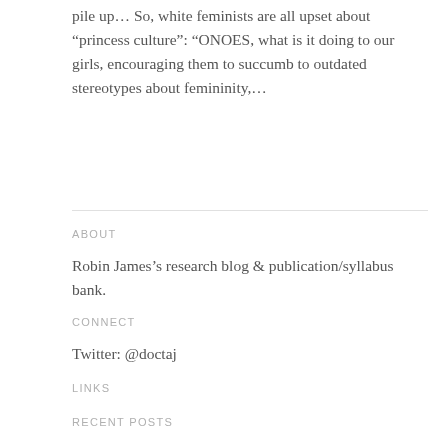pile up… So, white feminists are all upset about “princess culture”: “ONOES, what is it doing to our girls, encouraging them to succumb to outdated stereotypes about femininity,…
ABOUT
Robin James’s research blog & publication/syllabus bank.
CONNECT
Twitter: @doctaj
LINKS
RECENT POSTS
How to write an effective peer review report (for